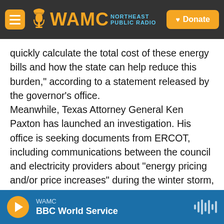[Figure (logo): WAMC Northeast Public Radio logo with hamburger menu and Donate button on dark header background]
quickly calculate the total cost of these energy bills and how the state can help reduce this burden," according to a statement released by the governor's office.
Meanwhile, Texas Attorney General Ken Paxton has launched an investigation. His office is seeking documents from ERCOT, including communications between the council and electricity providers about "energy pricing and/or price increases" during the winter storm, as well as price-related complaints that the council received from customers.
WAMC BBC World Service